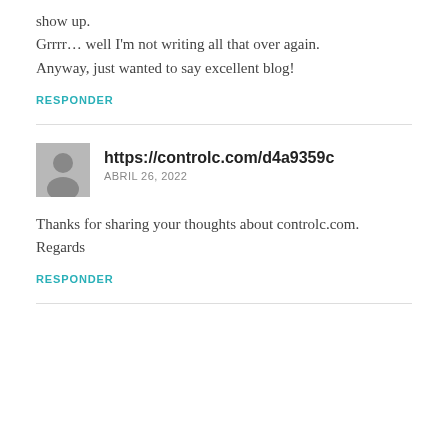show up.
Grrrr… well I'm not writing all that over again.
Anyway, just wanted to say excellent blog!
RESPONDER
https://controlc.com/d4a9359c
ABRIL 26, 2022
Thanks for sharing your thoughts about controlc.com.
Regards
RESPONDER